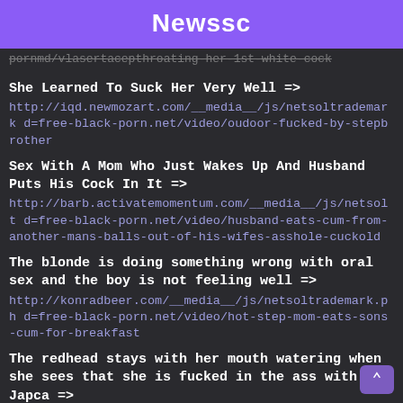Newssc
pornmd/vlasertacepthroating-her-1st-white-cock
She Learned To Suck Her Very Well => http://iqd.newmozart.com/__media__/js/netsoltrademark d=free-black-porn.net/video/oudoor-fucked-by-stepbrother
Sex With A Mom Who Just Wakes Up And Husband Puts His Cock In It => http://barb.activatemomentum.com/__media__/js/netsolt d=free-black-porn.net/video/husband-eats-cum-from-another-mans-balls-out-of-his-wifes-asshole-cuckold
The blonde is doing something wrong with oral sex and the boy is not feeling well => http://konradbeer.com/__media__/js/netsoltrademark.ph d=free-black-porn.net/video/hot-step-mom-eats-sons-cum-for-breakfast
The redhead stays with her mouth watering when she sees that she is fucked in the ass with Japca => http://celstreamtechnologies.de/__media__/js/netsoltra d=free-black-porn.net/video/giant-black-greeze-bu kina-kara-crystal-clear-delicious-tasha-rae-angie-love